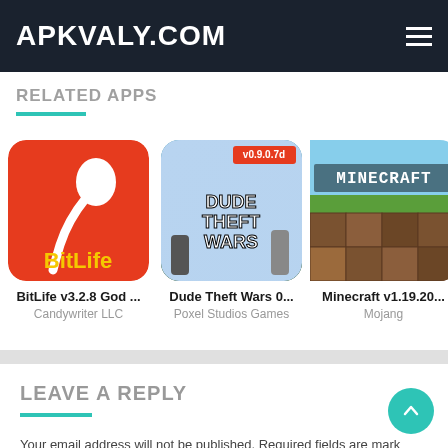APKVALY.COM
RELATED APPS
[Figure (screenshot): BitLife v3.2.8 app icon - red background with white sperm icon and yellow BitLife text]
BitLife v3.2.8 God ...
Candywriter LLC
[Figure (screenshot): Dude Theft Wars 0... app icon - game art with v0.9.0.7d label and characters]
Dude Theft Wars 0...
Poxel Studios Games
[Figure (screenshot): Minecraft v1.19.20... app icon - minecraft grass block and logo]
Minecraft v1.19.20...
Mojang
LEAVE A REPLY
Your email address will not be published. Required fields are mark